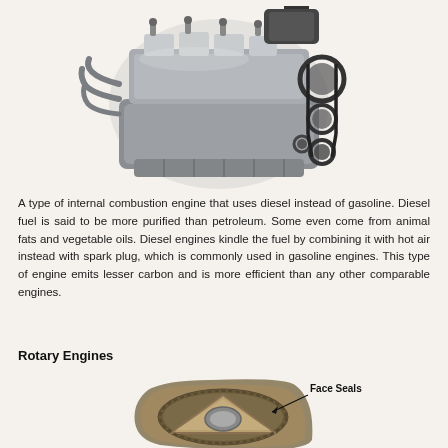[Figure (photo): Cutaway/exploded view photo of a diesel internal combustion engine showing valves, cylinders, belt drive and other components]
A type of internal combustion engine that uses diesel instead of gasoline. Diesel fuel is said to be more purified than petroleum. Some even come from animal fats and vegetable oils. Diesel engines kindle the fuel by combining it with hot air instead with spark plug, which is commonly used in gasoline engines. This type of engine emits lesser carbon and is more efficient than any other comparable engines.
Rotary Engines
[Figure (photo): Photo of a rotary engine rotor component with a label arrow pointing to 'Face Seals']